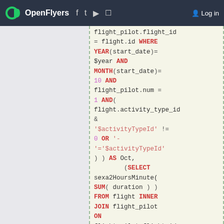OpenFlyers  [facebook] [twitter] [youtube] [rss]  Log in
[Figure (screenshot): SQL code snippet showing a query with flight_pilot.flight_id = flight.id WHERE YEAR(start_date)= $year AND MONTH(start_date)= 10 AND flight_pilot.num = 1 AND( flight.activity_type_id & '$activityTypeId' != 0 OR '-'='$activityTypeId' ) ) AS Oct, (SELECT sexa2HoursMinute( SUM( duration ) ) FROM flight INNER JOIN flight_pilot ON flight_pilot.flight_id = flight.id WHERE YEAR(start_date)= $year AND MONTH(start_date)= 11 AND flight_pilot.num =]